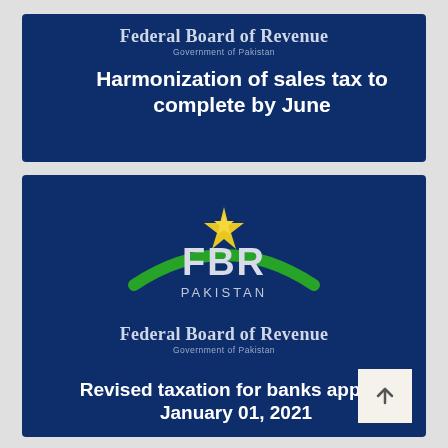[Figure (infographic): First card: Dark blue banner with 'Federal Board of Revenue / Government of Pakistan' header and headline text 'Harmonization of sales tax to complete by June']
[Figure (logo): FBR Pakistan logo: green arc with gold star above letters FBR, 'PAKISTAN' below]
[Figure (infographic): Second card: Dark blue banner with FBR logo, 'Federal Board of Revenue / Government of Pakistan' header and headline 'Revised taxation for banks applicable January 01, 2021']